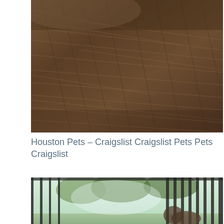[Figure (photo): Close-up photo of animal fur, brownish and textured, filling the frame]
Houston Pets – Craigslist Craigslist Pets Pets Craigslist
[Figure (photo): Photo showing a cage or kennel with metal bars/fencing, trees visible in background through the bars]